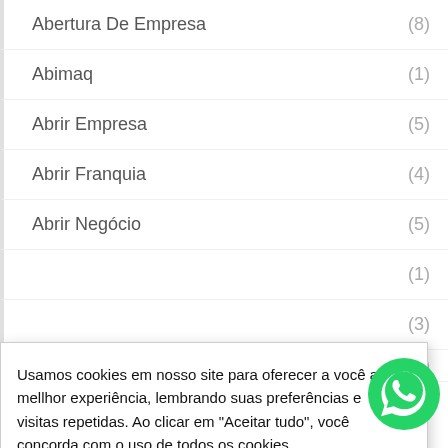Abertura De Empresa (8)
Abimaq (1)
Abrir Empresa (5)
Abrir Franquia (4)
Abrir Negócio (5)
(1)
(3)
(1)
Usamos cookies em nosso site para oferecer a você a mellhor experiência, lembrando suas preferências e visitas repetidas. Ao clicar em "Aceitar tudo", você concorda com o uso de todos os cookies.
Configurações | Aceito